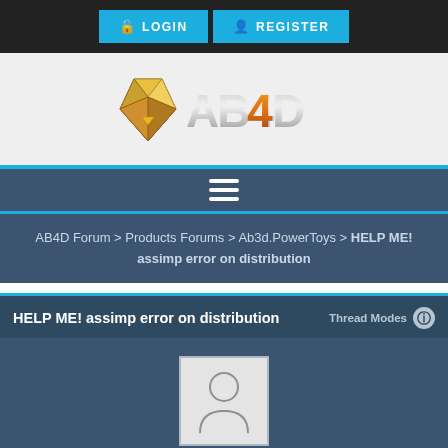LOGIN  REGISTER
[Figure (logo): AB4D logo with gold diamond icon and metallic lettering]
≡ (hamburger menu icon)
AB4D Forum > Products Forums > Ab3d.PowerToys > HELP ME! assimp error on distribution
HELP ME! assimp error on distribution
Thread Modes
[Figure (photo): Default user avatar silhouette placeholder image]